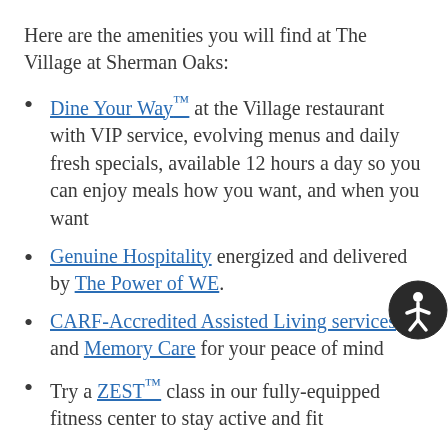Here are the amenities you will find at The Village at Sherman Oaks:
Dine Your Way™ at the Village restaurant with VIP service, evolving menus and daily fresh specials, available 12 hours a day so you can enjoy meals how you want, and when you want
Genuine Hospitality energized and delivered by The Power of WE.
CARF-Accredited Assisted Living services and Memory Care for your peace of mind
Try a ZEST™ class in our fully-equipped fitness center to stay active and fit